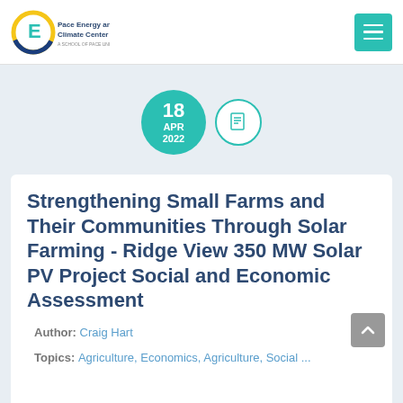[Figure (logo): Pace Energy and Climate Center logo — circular icon with 'E' and yellow/blue ring, beside text 'Pace Energy and Climate Center']
Strengthening Small Farms and Their Communities Through Solar Farming - Ridge View 350 MW Solar PV Project Social and Economic Assessment
Author: Craig Hart
Topics: Agriculture, Economics, Agriculture, Social ...